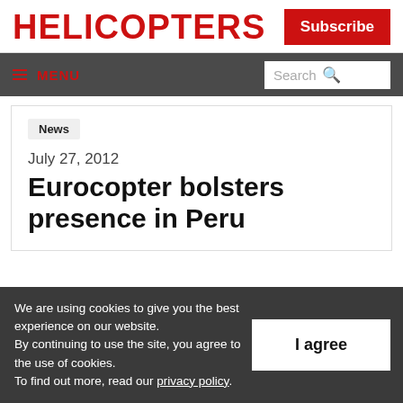HELICOPTERS
Subscribe
≡ MENU  Search
News
July 27, 2012
Eurocopter bolsters presence in Peru
We are using cookies to give you the best experience on our website. By continuing to use the site, you agree to the use of cookies. To find out more, read our privacy policy.
I agree